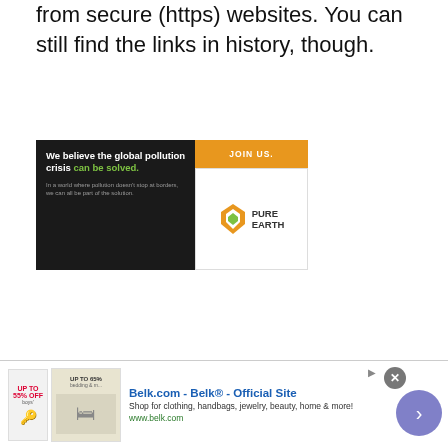from secure (https) websites. You can still find the links in history, though.
[Figure (illustration): Pure Earth advertisement banner. Left side: dark background with white bold text 'We believe the global pollution crisis can be solved.' with 'can be solved.' in green, and smaller grey subtext 'In a world where pollution doesn't stop at borders, we can all be part of the solution.' Top right: orange button with 'JOIN US.' text. Right side: white background with Pure Earth logo (diamond/leaf shape icon) and 'PURE EARTH' text in dark.]
For the complete list of changes and fixes,
[Figure (illustration): Belk.com advertisement footer banner. Shows small product images on left, bold blue text 'Belk.com - Belk® - Official Site', description text 'Shop for clothing, handbags, jewelry, beauty, home & more!', green URL 'www.belk.com', an X close button, and a purple/blue arrow circle button on the right.]